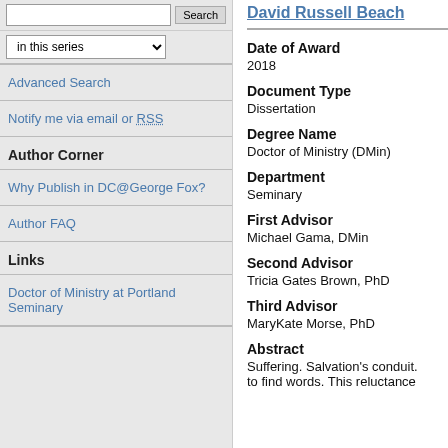in this series
Advanced Search
Notify me via email or RSS
Author Corner
Why Publish in DC@George Fox?
Author FAQ
Links
Doctor of Ministry at Portland Seminary
David Russell Beach
Date of Award
2018
Document Type
Dissertation
Degree Name
Doctor of Ministry (DMin)
Department
Seminary
First Advisor
Michael Gama, DMin
Second Advisor
Tricia Gates Brown, PhD
Third Advisor
MaryKate Morse, PhD
Abstract
Suffering. Salvation's conduit. to find words. This reluctance